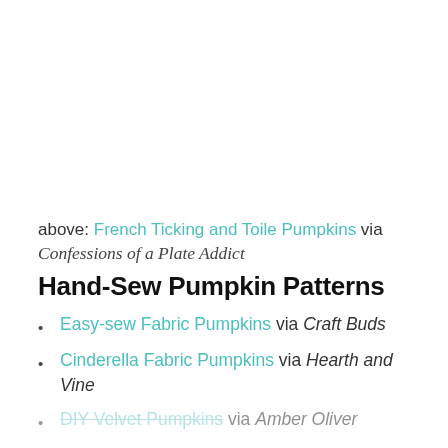above: French Ticking and Toile Pumpkins via Confessions of a Plate Addict
Hand-Sew Pumpkin Patterns
Easy-sew Fabric Pumpkins via Craft Buds
Cinderella Fabric Pumpkins via Hearth and Vine
DIY Velvet Pumpkins via Amber Oliver
Crushed Velvet Pumpkins via House of Hawthornes